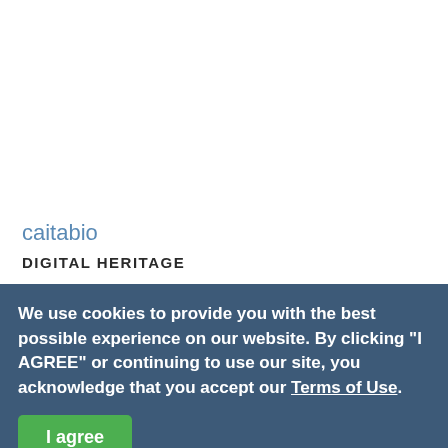caitabio
DIGITAL HERITAGE
We use cookies to provide you with the best possible experience on our website. By clicking "I AGREE" or continuing to use our site, you acknowledge that you accept our Terms of Use.
I agree